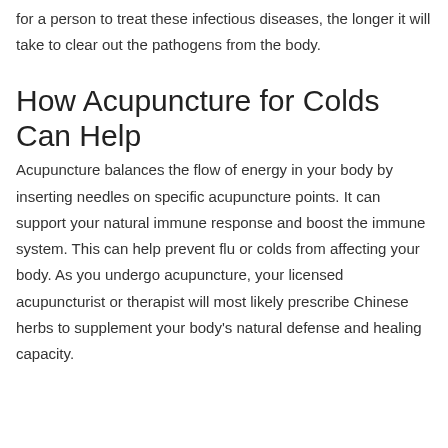for a person to treat these infectious diseases, the longer it will take to clear out the pathogens from the body.
How Acupuncture for Colds Can Help
Acupuncture balances the flow of energy in your body by inserting needles on specific acupuncture points. It can support your natural immune response and boost the immune system. This can help prevent flu or colds from affecting your body. As you undergo acupuncture, your licensed acupuncturist or therapist will most likely prescribe Chinese herbs to supplement your body's natural defense and healing capacity.